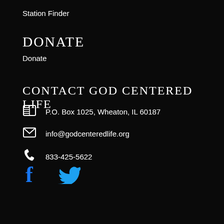Station Finder
DONATE
Donate
CONTACT GOD CENTERED LIFE
P.O. Box 1025, Wheaton, IL 60187
info@godcenteredlife.org
833-425-5622
[Figure (logo): Facebook and Twitter social media icons in blue]